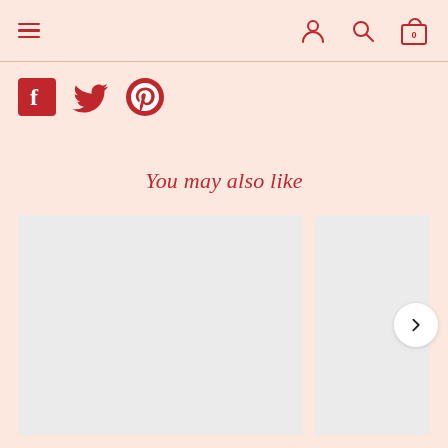Navigation header with hamburger menu, user icon, search icon, and shopping bag icon showing 0 items
[Figure (other): Social media share icons: Facebook (red square with f), Twitter (red bird), Pinterest (red circle with P)]
You may also like
[Figure (other): Product card placeholder (light gray rectangle, left)]
[Figure (other): Product card placeholder (light gray rectangle, right) with next arrow button]